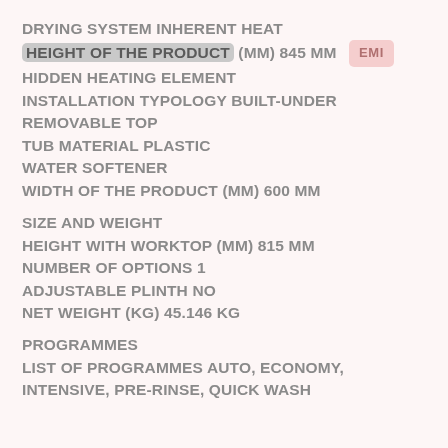DRYING SYSTEM INHERENT HEAT
HEIGHT OF THE PRODUCT (MM) 845 MM  EMI
HIDDEN HEATING ELEMENT
INSTALLATION TYPOLOGY BUILT-UNDER
REMOVABLE TOP
TUB MATERIAL PLASTIC
WATER SOFTENER
WIDTH OF THE PRODUCT (MM) 600 MM
SIZE AND WEIGHT
HEIGHT WITH WORKTOP (MM) 815 MM
NUMBER OF OPTIONS 1
ADJUSTABLE PLINTH NO
NET WEIGHT (KG) 45.146 KG
PROGRAMMES
LIST OF PROGRAMMES AUTO, ECONOMY, INTENSIVE, PRE-RINSE, QUICK WASH